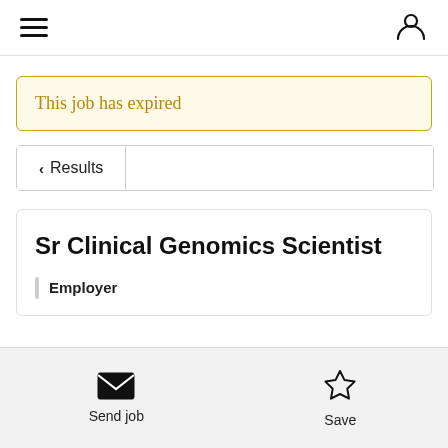Navigation bar with hamburger menu and user icon
This job has expired
< Results
Sr Clinical Genomics Scientist
Employer
Send job  Save